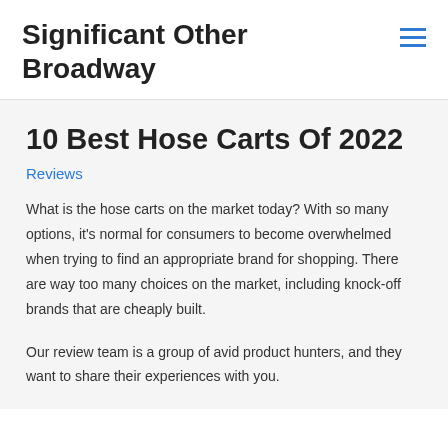Significant Other Broadway
10 Best Hose Carts Of 2022
Reviews
What is the hose carts on the market today? With so many options, it's normal for consumers to become overwhelmed when trying to find an appropriate brand for shopping. There are way too many choices on the market, including knock-off brands that are cheaply built.
Our review team is a group of avid product hunters, and they want to share their experiences with you.